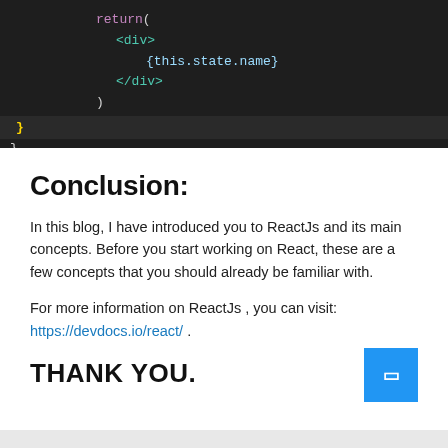[Figure (screenshot): Dark-themed code editor screenshot showing JSX return statement with div containing {this.state.name}, closing brace highlighted in yellow]
Conclusion:
In this blog, I have introduced you to ReactJs and its main concepts. Before you start working on React, these are a few concepts that you should already be familiar with.
For more information on ReactJs , you can visit: https://devdocs.io/react/ .
THANK YOU.